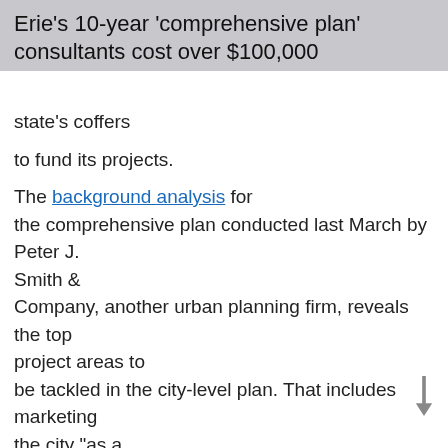Erie's 10-year 'comprehensive plan' consultants cost over $100,000
state's coffers

to fund its projects.

The background analysis for the comprehensive plan conducted last March by Peter J. Smith & Company, another urban planning firm, reveals the top project areas to be tackled in the city-level plan. That includes marketing the city “as a destination and community of choice for residents, businesses and investors and visitors,” states the report.

Chief among them is the recurring problem of housing and urban